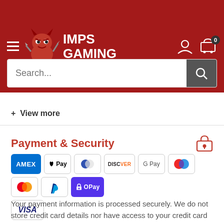[Figure (logo): Imps Gaming website header with red devil mascot logo and site name 'IMPS GAMING' on dark red background with hamburger menu, user icon, and cart icon]
Search...
+ View more
Payment & Security
[Figure (infographic): Payment method logos: American Express, Apple Pay, Diners Club, Discover, Google Pay, Maestro, Mastercard, PayPal, Shop Pay, Visa]
Your payment information is processed securely. We do not store credit card details nor have access to your credit card